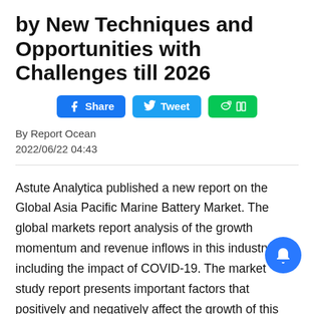by New Techniques and Opportunities with Challenges till 2026
[Figure (other): Social sharing buttons: Facebook Share, Twitter Tweet, LINE share]
By Report Ocean
2022/06/22 04:43
Astute Analytica published a new report on the Global Asia Pacific Marine Battery Market. The global markets report analysis of the growth momentum and revenue inflows in this industry, including the impact of COVID-19. The market study report presents important factors that positively and negatively affect the growth of this vertical in order to assist stakeholders in making decisions. In addition, the report offers data on the past, present, and future companies' scenarios. The report also contains key segments and